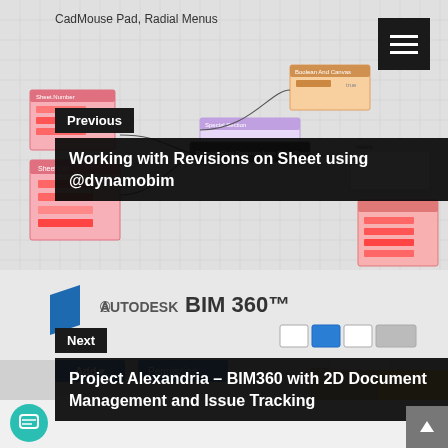CadMouse Pad, Radial Menus
[Figure (screenshot): Screenshot of Dynamo BIM node graph with colored node blocks showing revisions on sheet workflow]
Previous
Working with Revisions on Sheet using @dynamobim
[Figure (screenshot): Screenshot of Autodesk BIM 360 interface showing document management with Add, Permission buttons]
Next
Project Alexandria – BIM360 with 2D Document Management and Issue Tracking